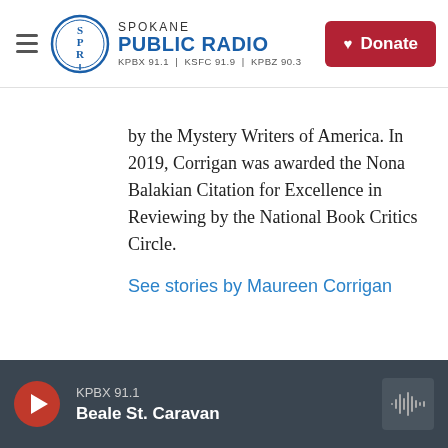[Figure (logo): Spokane Public Radio logo with SPR circular badge and text: SPOKANE PUBLIC RADIO, KPBX 91.1 | KSFC 91.9 | KPBZ 90.3]
by the Mystery Writers of America. In 2019, Corrigan was awarded the Nona Balakian Citation for Excellence in Reviewing by the National Book Critics Circle.
See stories by Maureen Corrigan
KPBX 91.1
Beale St. Caravan